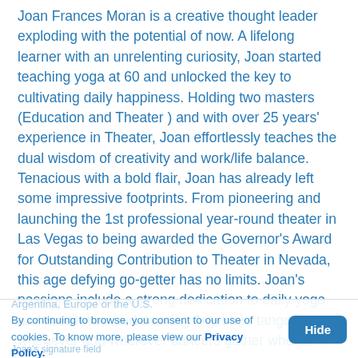Joan Frances Moran is a creative thought leader exploding with the potential of now. A lifelong learner with an unrelenting curiosity, Joan started teaching yoga at 60 and unlocked the key to cultivating daily happiness. Holding two masters (Education and Theater ) and with over 25 years' experience in Theater, Joan effortlessly teaches the dual wisdom of creativity and work/life balance. Tenacious with a bold flair, Joan has already left some impressive footprints. From pioneering and launching the 1st professional year-round theater in Las Vegas to being awarded the Governor's Award for Outstanding Contribution to Theater in Nevada, this age defying go-getter has no limits. Joan's passions include a strong dedication to daily yoga and meditation and dancing Argentine tango whenever and wherever dancers gather whether in
Argentina, Europe or the U.S.
By continuing to browse, you consent to our use of cookies. To know more, please view our Privacy Policy.
Joan's signature field